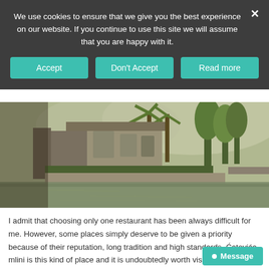We use cookies to ensure that we give you the best experience on our website. If you continue to use this site we will assume that you are happy with it.
Accept | Don't Accept | Read more
[Figure (photo): Photograph of Ćatovića mlini restaurant: a historic stone building beside a still water pond/mill, with palm trees and green trees in the background, outdoor seating visible along a stone wall.]
I admit that choosing only one restaurant has been always difficult for me. However, some places simply deserve to be given a priority because of their reputation, long tradition and high standards. Ćatovića mlini is this kind of place and it is undoubtedly worth visiting.
It is located in the small town called Morinh, half way b...